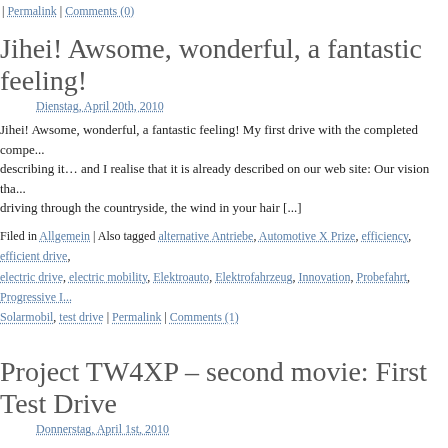| Permalink | Comments (0)
Jihei! Awsome, wonderful, a fantastic feeling!
Dienstag, April 20th, 2010
Jihei! Awsome, wonderful, a fantastic feeling! My first drive with the completed compe... describing it… and I realise that it is already described on our web site: Our vision tha... driving through the countryside, the wind in your hair [...]
Filed in Allgemein | Also tagged alternative Antriebe, Automotive X Prize, efficiency, efficient drive, electric drive, electric mobility, Elektroauto, Elektrofahrzeug, Innovation, Probefahrt, Progressive I..., Solarmobil, test drive | Permalink | Comments (1)
Project TW4XP – second movie: First Test Drive
Donnerstag, April 1st, 2010
We were really looking forward to this: The first test drives! It handles brilliantly, the s... finally fitted, we won't need gloves and helmet anymore. What a great feeling to drive... designing and to know that you are writing a bit of [...]
Filed in Video | Also tagged alternative Antriebe, Automotive X Prize, efficiency, efficient drive, effiz... drive, electric mobility, Elektroauto, Elektrofahrzeug, Innovation, Progressive Insurance Automoti... Permalink | Comments (0)